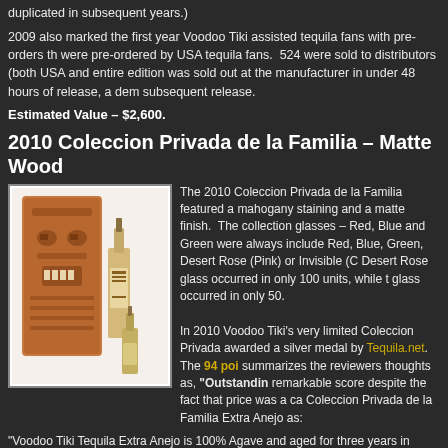duplicated in subsequent years.)
2009 also marked the first year Voodoo Tiki assisted tequila fans with pre-orders th were pre-ordered by USA tequila fans. 524 were sold to distributors (both USA and entire edition was sold out at the manufacturer in under 48 hours of release, a dem subsequent release.
Estimated Value – $2,600.
2010 Coleccion Privada de la Familia – Matte Wood
[Figure (photo): Photo of a wooden Tiki box and a bottle of Voodoo Tiki tequila with a decorative label]
The 2010 Coleccion Privada de la Familia featured a mahogany staining and a matte finish. The collection glasses – Red, Blue and Green were always include Red, Blue, Green, Desert Rose (Pink) or Invisible (C Desert Rose glass occurred in only 100 units, while glass occurred in only 50.
In 2010 Voodoo Tiki's very limited Coleccion Privada awarded a silver medal by Tequila.net. The 94 poi summarizes the reviewers thoughts as, "Outstanding remarkable score despite the fact that price was a ca Coleccion Privada de la Familia Extra Anejo as:
"Voodoo Tiki Tequila Extra Anejo is 100% Agave and aged for three years in French Voodoo Tiki Private Family Collection offering is a hand blown bottle and glass Tiki Extra Anejo Tequila. The handcrafted wooden Tiki box is a precise replica of an ori almost 2 feet tall and weighs over 9 pounds! The interior is pre-lit and illuminates w